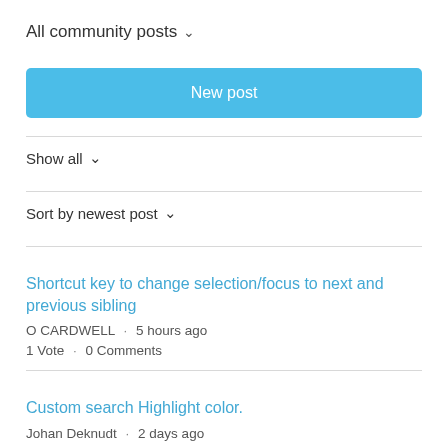All community posts
New post
Show all
Sort by newest post
Shortcut key to change selection/focus to next and previous sibling
O CARDWELL · 5 hours ago
1 Vote · 0 Comments
Custom search Highlight color.
Johan Deknudt · 2 days ago
0 Votes · 1 Comment